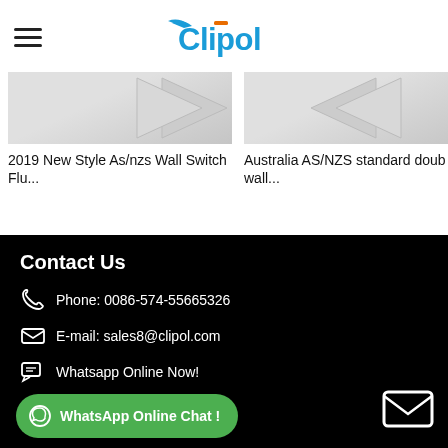Clipol
[Figure (photo): Product image 1 - 2019 New Style As/nzs Wall Switch Flu...]
2019 New Style As/nzs Wall Switch Flu...
[Figure (photo): Product image 2 - Australia AS/NZS standard double wall...]
Australia AS/NZS standard doub wall...
Contact Us
Phone: 0086-574-55665326
E-mail: sales8@clipol.com
Whatsapp Online Now!
WhatsApp Online Chat !